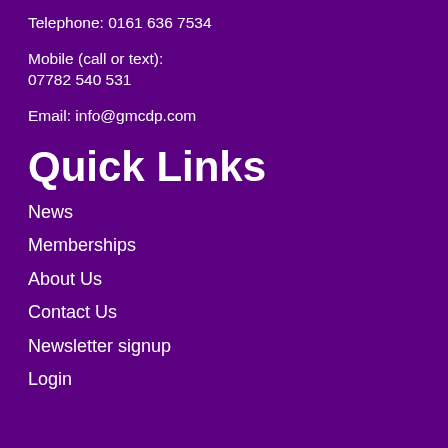Telephone: 0161 636 7534
Mobile (call or text):
07782 540 531
Email: info@gmcdp.com
Quick Links
News
Memberships
About Us
Contact Us
Newsletter signup
Login